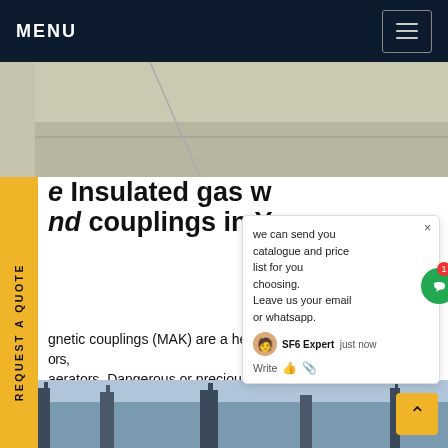MENU
[Figure (photo): Top aerial/close-up photo of industrial floor or roof surface, light gray/beige tones]
e Insulated gas w nd couplings in Y
gnetic couplings (MAK) are a her ntenance sealing solution fo ors, aerators. Dangerous or precious media remains ated in the closed system circuit. In turn, nothing etrates to contaminate the medium. For ators and mixers with top, bottom and side entry drive. Customized solution.Get price
[Figure (screenshot): Chat popup widget: 'we can send you catalogue and price list for you choosing. Leave us your email or whatsapp.' with SF6 Expert agent, Write/attachment icons, and green chat button with badge '1']
[Figure (photo): Bottom photo showing industrial high-voltage towers/pylons against sky]